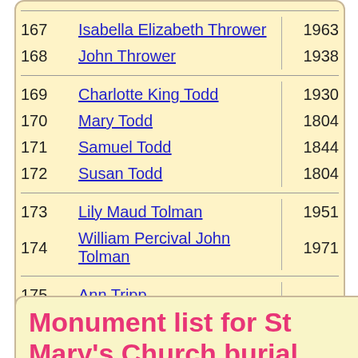| # | Name | Year |
| --- | --- | --- |
| 167 | Isabella Elizabeth Thrower | 1963 |
| 168 | John Thrower | 1938 |
| 169 | Charlotte King Todd | 1930 |
| 170 | Mary Todd | 1804 |
| 171 | Samuel Todd | 1844 |
| 172 | Susan Todd | 1804 |
| 173 | Lily Maud Tolman | 1951 |
| 174 | William Percival John Tolman | 1971 |
| 175 | Ann Tripp |  |
Monument list for St Mary's Church burial ground